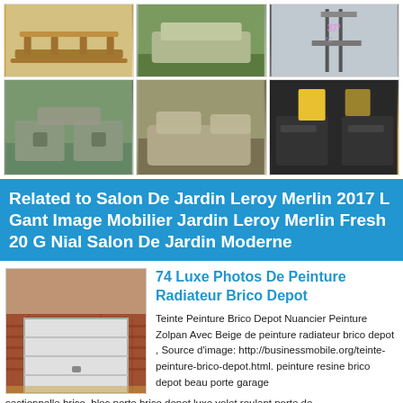[Figure (photo): Grid of 6 garden/outdoor furniture photos: wooden bench, wicker sofa set outdoors, modern display stand, rattan cube set by pool, rattan sun lounger set in garden, dark wicker dining set with yellow cushions]
Related to Salon De Jardin Leroy Merlin 2017 L Gant Image Mobilier Jardin Leroy Merlin Fresh 20 G Nial Salon De Jardin Moderne
[Figure (photo): Photo of a house exterior with brick wall and a white sectional garage door]
74 Luxe Photos De Peinture Radiateur Brico Depot
Teinte Peinture Brico Depot Nuancier Peinture Zolpan Avec Beige de peinture radiateur brico depot , Source d'image: http://businessmobile.org/teinte-peinture-brico-depot.html. peinture resine brico depot beau porte garage sectionnelle brico, bloc porte brico depot luxe volet roulant porte de